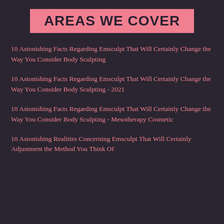AREAS WE COVER
10 Astonishing Facts Regarding Emsculpt That Will Certainly Change the Way You Consider Body Sculpting
10 Astonishing Facts Regarding Emsculpt That Will Certainly Change the Way You Consider Body Sculpting - 2021
10 Astonishing Facts Regarding Emsculpt That Will Certainly Change the Way You Consider Body Sculpting - Mesotherapy Cosmetic
10 Astonishing Realities Concerning Emsculpt That Will Certainly Adjustment the Method You Think Of